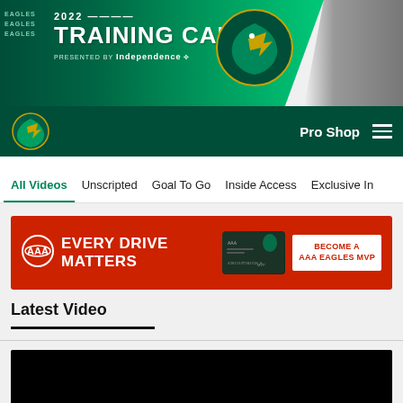[Figure (illustration): 2022 Training Camp banner with Eagles logo, green background, player photos on right, presented by Independence Blue Cross]
[Figure (logo): Philadelphia Eagles navigation bar with logo, Pro Shop link, and hamburger menu on dark teal background]
All Videos  Unscripted  Goal To Go  Inside Access  Exclusive In...
[Figure (infographic): AAA Eagles MVP advertisement - Every Drive Matters, Become a AAA Eagles MVP, red background with Eagles credit card]
Latest Video
[Figure (screenshot): Black video player area for latest video content]